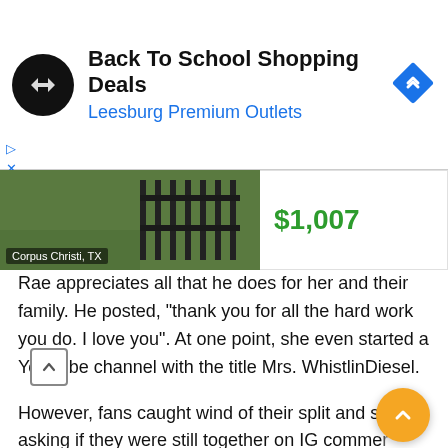[Figure (other): Advertisement banner for 'Back To School Shopping Deals' at Leesburg Premium Outlets. Shows a circular black logo with a double-arrow symbol, ad title text, a blue diamond navigation icon, and small ad control icons (triangle and X in blue).]
[Figure (photo): Partial image of metal furniture/gate on grass background with price '$1,007' in green text partially visible. Location tag reads 'Corpus Christi, TX'.]
Rae appreciates all that he does for her and their family. He posted, “thank you for all the hard work you do. I love you”. At one point, she even started a YouTube channel with the title Mrs. WhistlinDiesel.
However, fans caught wind of their split and started asking if they were still together on IG comme… Given how frequently Rae and WhistlinDiesel would upload content about one other, fans found it strange that the two hadn’t done so in a long time.